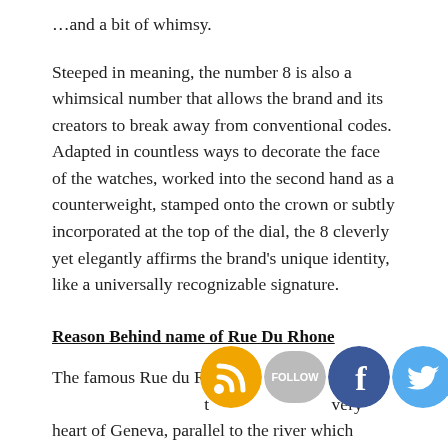…and a bit of whimsy.
Steeped in meaning, the number 8 is also a whimsical number that allows the brand and its creators to break away from conventional codes. Adapted in countless ways to decorate the face of the watches, worked into the second hand as a counterweight, stamped onto the crown or subtly incorporated at the top of the dial, the 8 cleverly yet elegantly affirms the brand's unique identity, like a universally recognizable signature.
Reason Behind name of Rue Du Rhone
The famous Rue du Rhone runs through the very heart of Geneva, parallel to the river which shares its name. The emblem of absolute luxury, the Rue
[Figure (infographic): Social media icons: RSS feed (orange), Follow button (gray), Facebook (blue), Twitter (blue)]